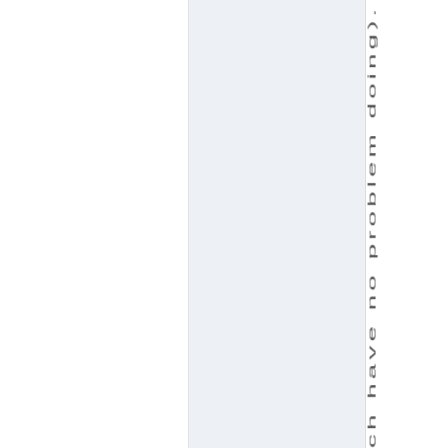ses(which have no problem doing).